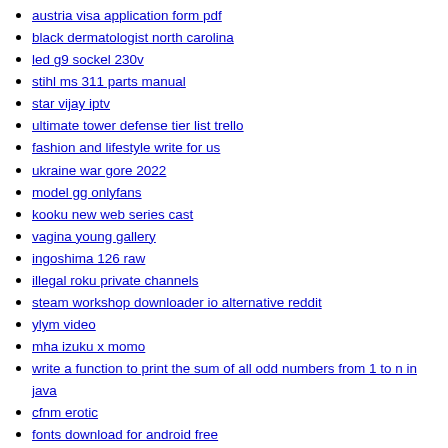austria visa application form pdf
black dermatologist north carolina
led g9 sockel 230v
stihl ms 311 parts manual
star vijay iptv
ultimate tower defense tier list trello
fashion and lifestyle write for us
ukraine war gore 2022
model gg onlyfans
kooku new web series cast
vagina young gallery
ingoshima 126 raw
illegal roku private channels
steam workshop downloader io alternative reddit
ylym video
mha izuku x momo
write a function to print the sum of all odd numbers from 1 to n in java
cfnm erotic
fonts download for android free
hotmail email list txt
mega nz leaks
k swap engine
zte zxhn h298a firmware